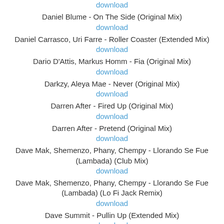download
Daniel Blume - On The Side (Original Mix)
download
Daniel Carrasco, Uri Farre - Roller Coaster (Extended Mix)
download
Dario D'Attis, Markus Homm - Fia (Original Mix)
download
Darkzy, Aleya Mae - Never (Original Mix)
download
Darren After - Fired Up (Original Mix)
download
Darren After - Pretend (Original Mix)
download
Dave Mak, Shemenzo, Phany, Chempy - Llorando Se Fue (Lambada) (Club Mix)
download
Dave Mak, Shemenzo, Phany, Chempy - Llorando Se Fue (Lambada) (Lo Fi Jack Remix)
download
Dave Summit - Pullin Up (Extended Mix)
download
David Guetta, Becky Hill, Ella Henderson - Crazy What Love